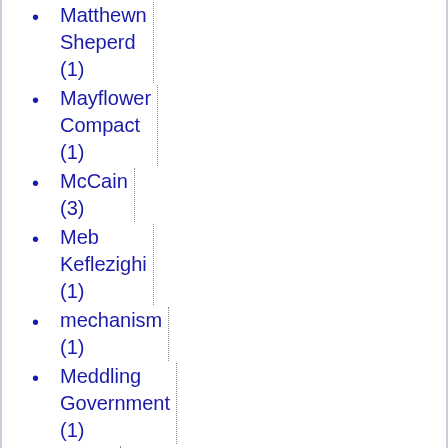Matthewn Sheperd (1)
Mayflower Compact (1)
McCain (3)
Meb Keflezighi (1)
mechanism (1)
Meddling Government (1)
media (2)
Mediaeval Studies (1)
medical ethics (1)
medicine